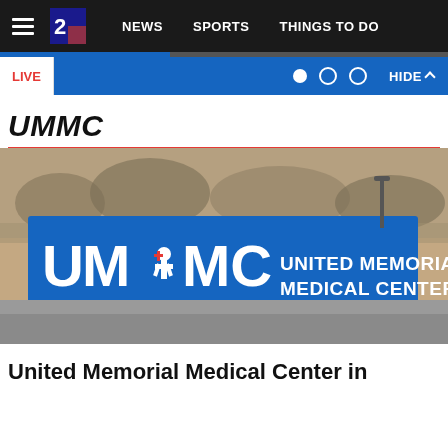NEWS | SPORTS | THINGS TO DO
LIVE | HIDE
UMMC
[Figure (photo): Exterior sign of United Memorial Medical Center (UMMC) — a large blue rectangular sign with white lettering reading 'UMMC' with a cross symbol and 'UNITED MEMORIAL MEDICAL CENTER', photographed from a parking lot with bare trees in the background.]
United Memorial Medical Center in